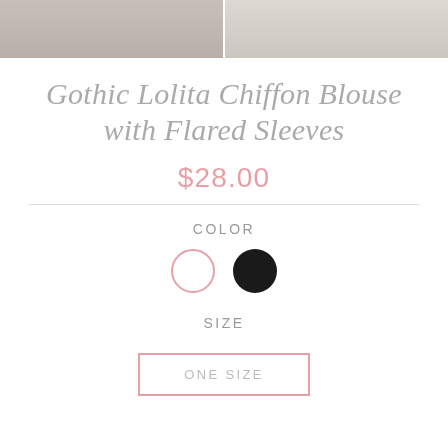[Figure (photo): Two product photos of a Gothic Lolita chiffon blouse side by side at the top of the page]
Gothic Lolita Chiffon Blouse with Flared Sleeves
$28.00
COLOR
[Figure (illustration): Two color swatches: white circle with pink border (selected) and solid black circle]
SIZE
ONE SIZE